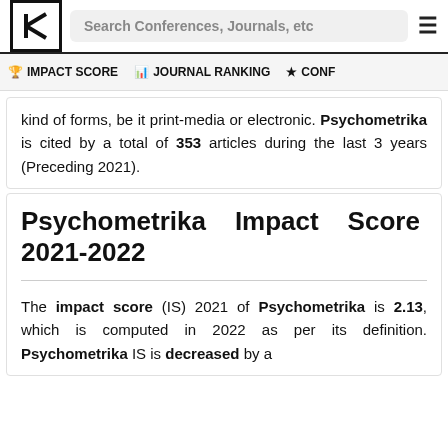Search Conferences, Journals, etc
IMPACT SCORE | JOURNAL RANKING | CONF
kind of forms, be it print-media or electronic. Psychometrika is cited by a total of 353 articles during the last 3 years (Preceding 2021).
Psychometrika Impact Score 2021-2022
The impact score (IS) 2021 of Psychometrika is 2.13, which is computed in 2022 as per its definition. Psychometrika IS is decreased by a